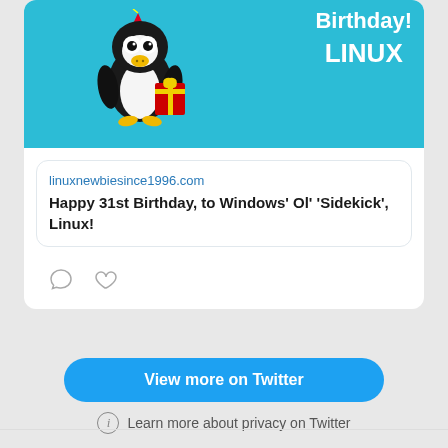[Figure (illustration): Twitter embed card showing a Linux birthday illustration with Tux the penguin on a teal/blue background holding a red gift box, with text 'Happy Birthday! LINUX']
linuxnewbiesince1996.com
Happy 31st Birthday, to Windows' Ol' 'Sidekick', Linux!
View more on Twitter
Learn more about privacy on Twitter